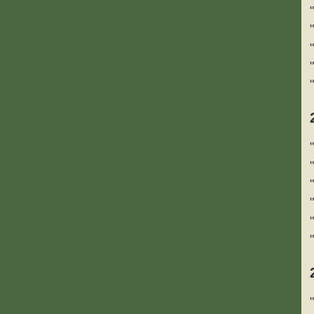“Even crow girls get the blues” Blackberry...
“Figurative Pieces” solo show Plaskett Ga...
“7th Annual Online Realism International E...
“7th Annual Online Faces International Ex...
“Look Victoria 2005” group juried show, R...
2004
“Seeking salvation” solo show May-Ip Lan...
“Sidney Fine Art Show,” (juried) Mary Win...
“Alumni group show” Gallery at the Mac, A...
“Fine Arts 2004” juried group, Sooke Regi...
“Fairfield Studio Artists Tour” Victoria, Apri...
“Evolution” Alumni show, Maltwood Museu...
2003
“Figurative Abstracts” three person juried s... December 4, Maple Ridge, BC
“Degrees of (E) motion” juried solo show,... October 2 - November 2, Port Moody, BC... Moody)
“Parade of Homes” Royal Bay, Victoria, S...
“Sidney Fine Art Show (Juried) Septembe...
“Broad Reach offers Hors-d’oeuvres” (12 ...
“The Human Dimension” two person juried...